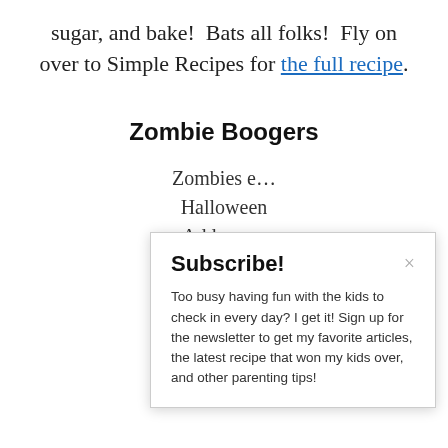sugar, and bake!  Bats all folks!  Fly on over to Simple Recipes for the full recipe.
Zombie Boogers
Zombies e… Halloween… Add green… your favo… make the…
Subscribe!
Too busy having fun with the kids to check in every day? I get it! Sign up for the newsletter to get my favorite articles, the latest recipe that won my kids over, and other parenting tips!